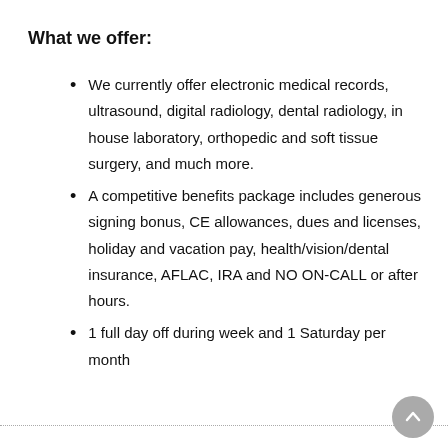What we offer:
We currently offer electronic medical records, ultrasound, digital radiology, dental radiology, in house laboratory, orthopedic and soft tissue surgery, and much more.
A competitive benefits package includes generous signing bonus, CE allowances, dues and licenses, holiday and vacation pay, health/vision/dental insurance, AFLAC, IRA and NO ON-CALL or after hours.
1 full day off during week and 1 Saturday per month